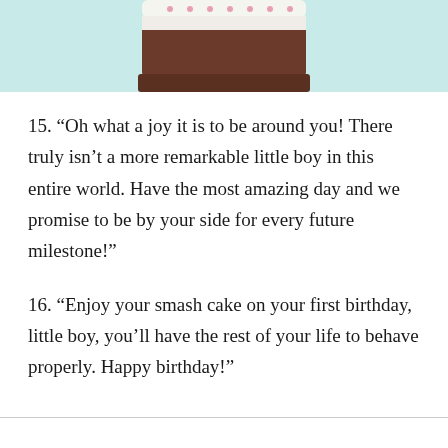[Figure (illustration): Partial illustration of a birthday cake with a brown chocolate base on a light teal/mint background, cropped at top of page]
15. “Oh what a joy it is to be around you! There truly isn’t a more remarkable little boy in this entire world. Have the most amazing day and we promise to be by your side for every future milestone!”
16. “Enjoy your smash cake on your first birthday, little boy, you’ll have the rest of your life to behave properly. Happy birthday!”